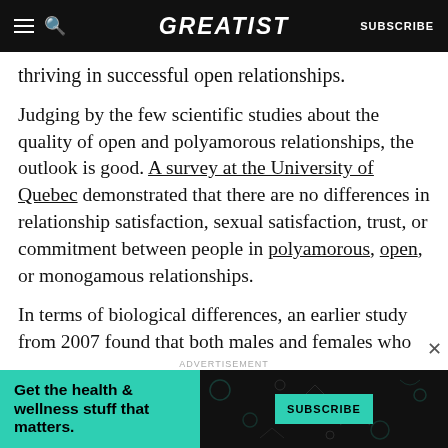GREATIST | SUBSCRIBE
thriving in successful open relationships.
Judging by the few scientific studies about the quality of open and polyamorous relationships, the outlook is good. A survey at the University of Quebec demonstrated that there are no differences in relationship satisfaction, sexual satisfaction, trust, or commitment between people in polyamorous, open, or monogamous relationships.
In terms of biological differences, an earlier study from 2007 found that both males and females who
ADVERTISEMENT
[Figure (infographic): Advertisement banner: green section with text 'Get the health & wellness stuff that matters.' and dark patterned section with a teal SUBSCRIBE button.]